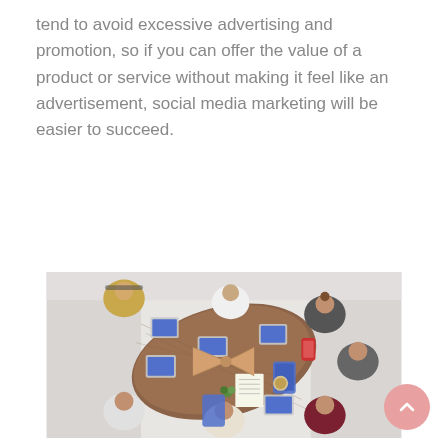tend to avoid excessive advertising and promotion, so if you can offer the value of a product or service without making it feel like an advertisement, social media marketing will be easier to succeed.
[Figure (photo): Aerial/top-down view of a business meeting around a wooden conference table with multiple people using laptops and tablets, some shaking hands.]